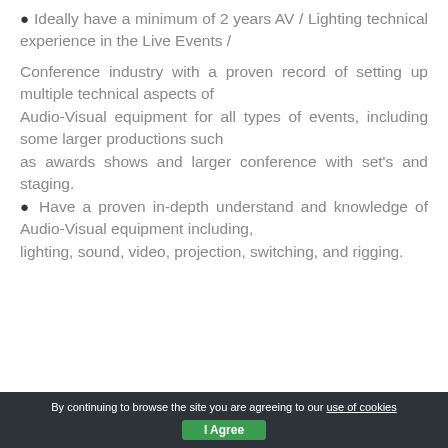• Ideally have a minimum of 2 years AV / Lighting technical experience in the Live Events /
Conference industry with a proven record of setting up multiple technical aspects of Audio-Visual equipment for all types of events, including some larger productions such as awards shows and larger conference with set's and staging.
• Have a proven in-depth understand and knowledge of Audio-Visual equipment including,
lighting, sound, video, projection, switching, and rigging.
By continuing to browse the site you are agreeing to our use of cookies  I Agree